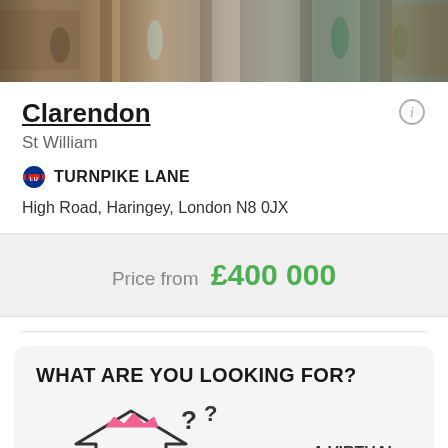[Figure (photo): Photograph of a residential development exterior with people visible]
Clarendon
St William
TURNPIKE LANE
High Road, Haringey, London N8 0JX
Price from £400 000
WHAT ARE YOU LOOKING FOR?
[Figure (illustration): Cartoon house character with crown and question marks, with text 'A VIRTUAL ASSISTANT']